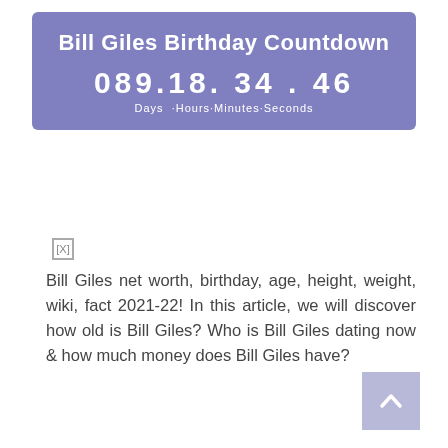Bill Giles Birthday Countdown
089.18. 34 . 46 Days · Hours · Minutes · Seconds
[Figure (other): Small placeholder image icon with [X] marker]
Bill Giles net worth, birthday, age, height, weight, wiki, fact 2021-22! In this article, we will discover how old is Bill Giles? Who is Bill Giles dating now & how much money does Bill Giles have?